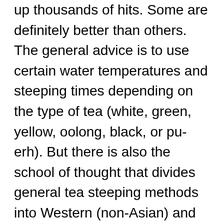up thousands of hits. Some are definitely better than others. The general advice is to use certain water temperatures and steeping times depending on the type of tea (white, green, yellow, oolong, black, or pu-erh). But there is also the school of thought that divides general tea steeping methods into Western (non-Asian) and Asian. There are lots of variations within each, but generally, Western uses larger pot sizes (2-, 4-, and 6-cup being the most common) and larger cups (4 to 16 ounces) while Asian teapots and cups are much, much smaller and measured in milliliters (ml) or cubic centimeters (cc).
Focusing on the Western approach, it is good